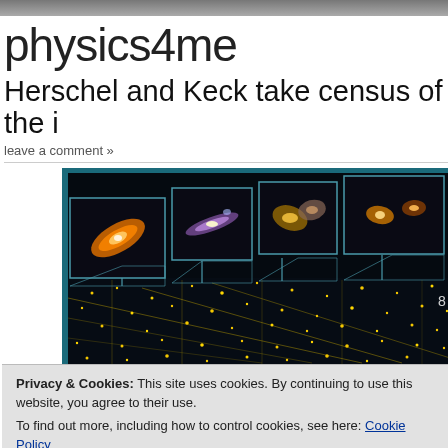physics4me
Herschel and Keck take census of the i
leave a comment »
[Figure (photo): Illustration showing multiple starburst galaxies at different distances/redshifts displayed as inset images above a 3D grid of yellow dots representing a galaxy census, with a dark/teal background.]
Privacy & Cookies: This site uses cookies. By continuing to use this website, you agree to their use.
To find out more, including how to control cookies, see here: Cookie Policy
Close and accept
By
astronomers have characterised hundreds of previously unseen starburst ga